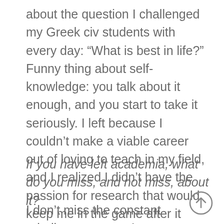about the question I challenged my Greek civ students with every day: “What is best in life?” Funny thing about self-knowledge: you talk about it enough, and you start to take it seriously. I left because I couldn’t make a viable career out of loving to teach in my field, and I realized I didn’t have the passion for research that would keep me in the game after it became seemingly unwinnable.
If you have left academia, what do you miss, and not miss, about it?
I don’t miss the constant grinding pressure. An